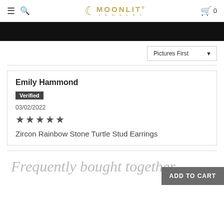MOONLIT JEWELRY
[Figure (photo): Black image strip at top of content area]
Pictures First
Emily Hammond
Verified
03/02/2022
★★★★★
Zircon Rainbow Stone Turtle Stud Earrings
Frequently bought together
ADD TO CART